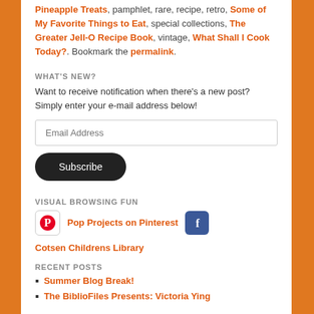Pineapple Treats, pamphlet, rare, recipe, retro, Some of My Favorite Things to Eat, special collections, The Greater Jell-O Recipe Book, vintage, What Shall I Cook Today?. Bookmark the permalink.
WHAT'S NEW?
Want to receive notification when there's a new post? Simply enter your e-mail address below!
[Figure (other): Email address input field and Subscribe button]
VISUAL BROWSING FUN
[Figure (other): Pinterest icon linking to Pop Projects on Pinterest, and Facebook icon linking to Cotsen Childrens Library]
RECENT POSTS
Summer Blog Break!
The BiblioFiles Presents: Victoria Ying